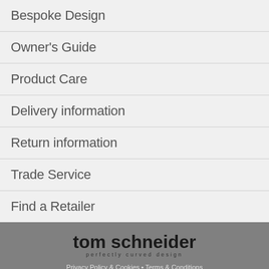Bespoke Design
Owner's Guide
Product Care
Delivery information
Return information
Trade Service
Find a Retailer
tom schneider
perfectly curved design
Privacy Policy & Cookies • Terms & Conditions
Schneider Furniture Ltd trading as Tom Schneider  Company Number 07124677
© TOM SCHNEIDER 2022   All rights reserved